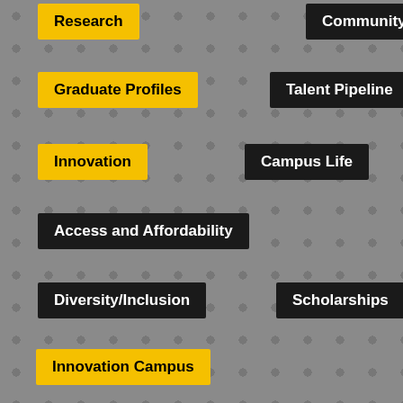Research
Community Engagement
Graduate Profiles
Talent Pipeline
Innovation
Campus Life
Access and Affordability
Diversity/Inclusion
Scholarships
Innovation Campus
College of Health Professions
Athletics
College of Applied Studies